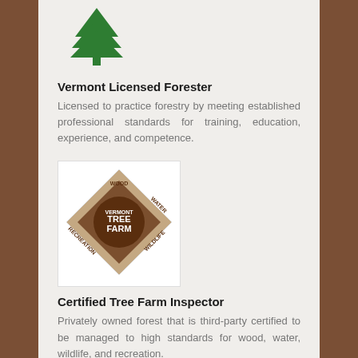[Figure (logo): Green tree illustration/logo icon]
Vermont Licensed Forester
Licensed to practice forestry by meeting established professional standards for training, education, experience, and competence.
[Figure (logo): Vermont Tree Farm diamond-shaped certification logo with wood, water, recreation, wildlife labels]
Certified Tree Farm Inspector
Privately owned forest that is third-party certified to be managed to high standards for wood, water, wildlife, and recreation.
[Figure (logo): Forest Stewards Guild green logo with leaf icon and italic text 'Forest Stewards Guild']